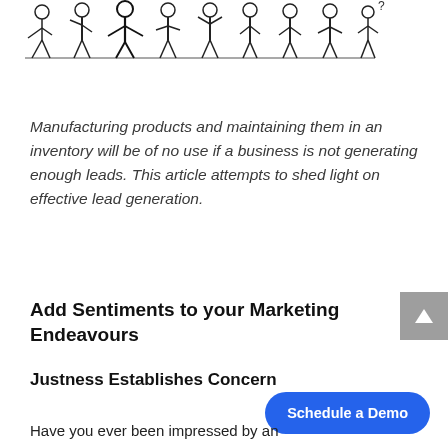[Figure (illustration): Line drawing illustration of multiple people (business figures) in various poses standing in a row]
Manufacturing products and maintaining them in an inventory will be of no use if a business is not generating enough leads. This article attempts to shed light on effective lead generation.
Add Sentiments to your Marketing Endeavours
Justness Establishes Concern
Have you ever been impressed by an